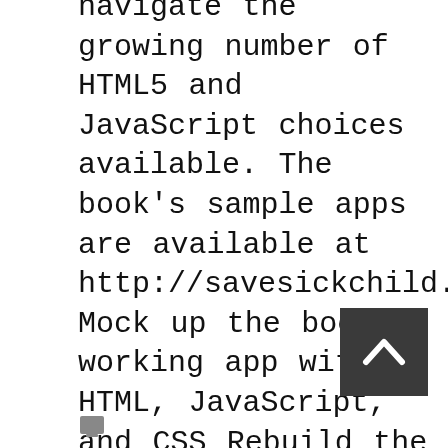navigate the growing number of HTML5 and JavaScript choices available. The book's sample apps are available at http://savesickchild.org. Mock up the book's working app with HTML, JavaScript, and CSS Rebuild the sample app, first with jQuery and then Ext JS Work with different build tools, code generators, and package managers Build a modularized version of the app with RequireJS Apply test-driven development with the Jasmine framework Use WebSocket to build an online auction for the app Adapt the app for both PCs and mobile with responsive web design Create mobile versions with jQuery Mobile, Sencha Touch, and PhoneGap